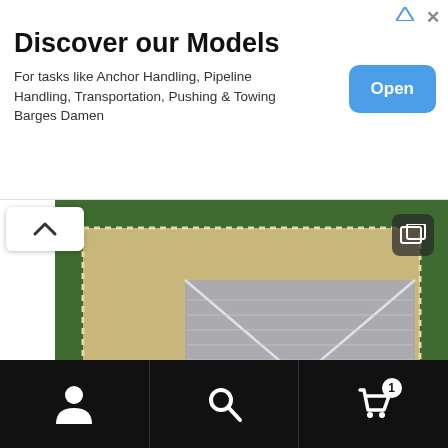[Figure (screenshot): Mobile app screenshot showing an advertisement banner at the top for 'Discover our Models' with tasks like Anchor Handling, Pipeline Handling, Transportation, Pushing & Towing Barges Damen, with an Open button. Below is an aerial/top-down view image of a house with a hip roof surrounded by landscaping and grass. At the bottom is a navigation bar with person, search, and cart icons.]
Discover our Models
For tasks like Anchor Handling, Pipeline Handling, Transportation, Pushing & Towing Barges Damen
Open
1